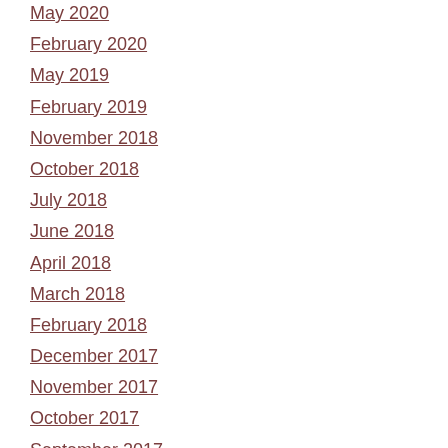May 2020
February 2020
May 2019
February 2019
November 2018
October 2018
July 2018
June 2018
April 2018
March 2018
February 2018
December 2017
November 2017
October 2017
September 2017
August 2017
July 2017
April 2017
March 2017